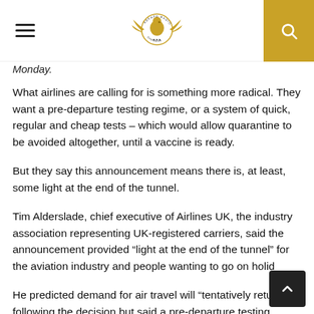Asenfo Radio [logo] [hamburger menu] [search]
Monday.
What airlines are calling for is something more radical. They want a pre-departure testing regime, or a system of quick, regular and cheap tests – which would allow quarantine to be avoided altogether, until a vaccine is ready.
But they say this announcement means there is, at least, some light at the end of the tunnel.
Tim Alderslade, chief executive of Airlines UK, the industry association representing UK-registered carriers, said the announcement provided “light at the end of the tunnel” for the aviation industry and people wanting to go on holid
He predicted demand for air travel will “tentatively return” following the decision but said a pre-departure testing